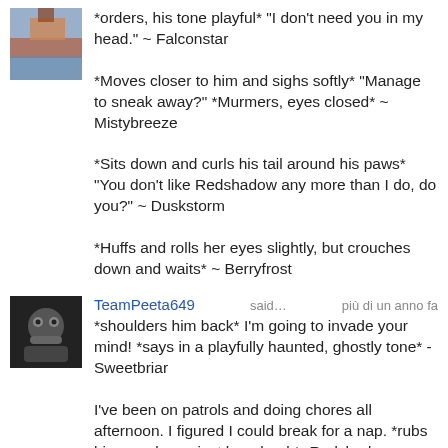*orders, his tone playful* "I don't need you in my head." ~ Falconstar

*Moves closer to him and sighs softly* "Manage to sneak away?" *Murmers, eyes closed* ~ Mistybreeze

*Sits down and curls his tail around his paws* "You don't like Redshadow any more than I do, do you?" ~ Duskstorm

*Huffs and rolls her eyes slightly, but crouches down and waits* ~ Berryfrost
TeamPeeta649 said…
pù di un anno fa
*shoulders him back* I'm going to invade your mind! *says in a playfully haunted, ghostly tone* -Sweetbriar

I've been on patrols and doing chores all afternoon. I figured I could break for a nap. *rubs his muzzle against her cheek* -Redshadow
KatieK102 said… più di un anno fa